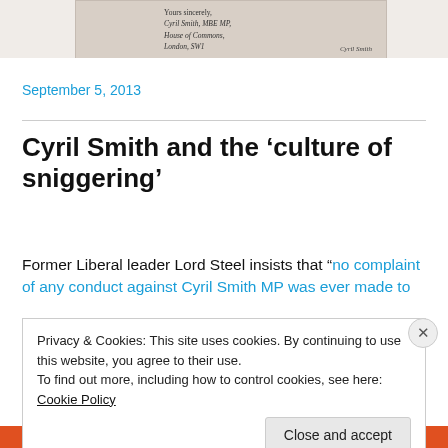[Figure (photo): Scanned letter image with handwritten-style text showing a signature block: 'Yours sincerely, Cyril Smith, MBE MP, House of Commons, London, SW1' and signature 'Cyril Smith']
September 5, 2013
Cyril Smith and the ‘culture of sniggering’
Former Liberal leader Lord Steel insists that “no complaint of any conduct against Cyril Smith MP was ever made to
Privacy & Cookies: This site uses cookies. By continuing to use this website, you agree to their use.
To find out more, including how to control cookies, see here: Cookie Policy
Close and accept